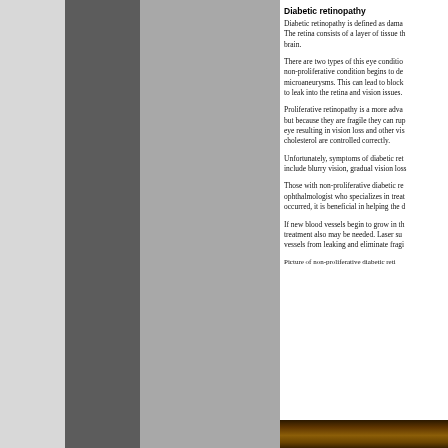Diabetic retinopathy
Diabetic retinopathy is defined as damage to the retina. The retina consists of a layer of tissue that sends signals to the brain.
There are two types of this eye condition. The non-proliferative condition begins to develop microaneurysms. This can lead to blockages causing fluid to leak into the retina and vision issues.
Proliferative retinopathy is a more advanced stage but because they are fragile they can rupture in the eye resulting in vision loss and other vision issues if cholesterol are controlled correctly.
Unfortunately, symptoms of diabetic retinopathy include blurry vision, gradual vision loss.
Those with non-proliferative diabetic retinopathy see an ophthalmologist who specializes in treating. Once it has occurred, it is beneficial in helping the disease.
If new blood vessels begin to grow in the eye, treatment also may be needed. Laser surgery to prevent vessels from leaking and eliminate fragile.
Picture of non-proliferative diabetic retinopathy
[Figure (photo): Close-up photograph of a human eye showing non-proliferative diabetic retinopathy, with orange-brown tones.]